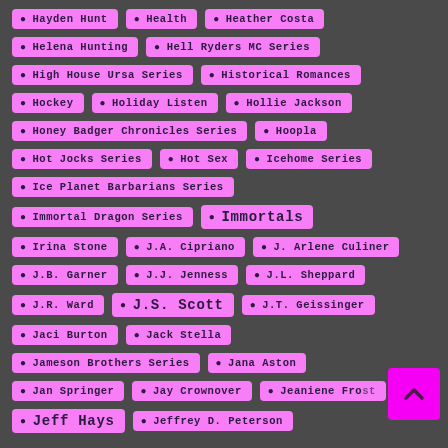Hayden Hunt
Health
Heather Costa
Helena Hunting
Hell Ryders MC Series
High House Ursa Series
Historical Romances
Hockey
Holiday Listen
Hollie Jackson
Honey Badger Chronicles Series
Hoopla
Hot Jocks Series
Hot Sex
Icehome Series
Ice Planet Barbarians Series
Immortal Dragon Series
Immortals
Irina Stone
J.A. Cipriano
J. Arlene Culiner
J.B. Garner
J.J. Jenness
J.L. Sheppard
J.R. Ward
J.S. Scott
J.T. Geissinger
Jaci Burton
Jack Stella
Jameson Brothers Series
Jana Aston
Jan Springer
Jay Crownover
Jeaniene Frost
Jeff Hays
Jeffrey D. Peterson